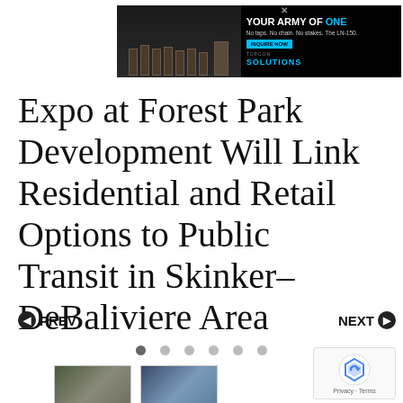[Figure (screenshot): Banner advertisement for Topcon Solutions 'Your Army of One' featuring the LN-150 device. Black background with military-style equipment imagery on the left and text on the right reading 'YOUR ARMY OF ONE', 'No taps. No chain. No stakes. The LN-150.', a blue call-to-action button, and 'TOPCON SOLUTIONS' logo in blue.]
Expo at Forest Park Development Will Link Residential and Retail Options to Public Transit in Skinker–DeBaliviere Area
[Figure (screenshot): Navigation controls showing a left arrow with PREV label on the left and NEXT with right arrow on the right, with six pagination dots below (first dot filled/active), and two thumbnail images of the development at the bottom left.]
[Figure (screenshot): reCAPTCHA Privacy Terms badge in the bottom right corner showing Google reCAPTCHA logo and 'Privacy - Terms' text.]